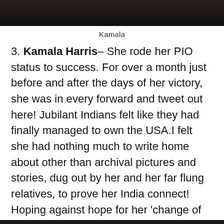[Figure (photo): Top portion of a photo of Kamala Harris, cropped, showing upper body against dark background]
Kamala
3. Kamala Harris– She rode her PIO status to success. For over a month just before and after the days of her victory, she was in every forward and tweet out here! Jubilant Indians felt like they had finally managed to own the USA.I felt she had nothing much to write home about other than archival pictures and stories, dug out by her and her far flung relatives, to prove her India connect! Hoping against hope for her 'change of heart' towards my beloved country. One guy who wears too much dare devilery is here in India…⬇️